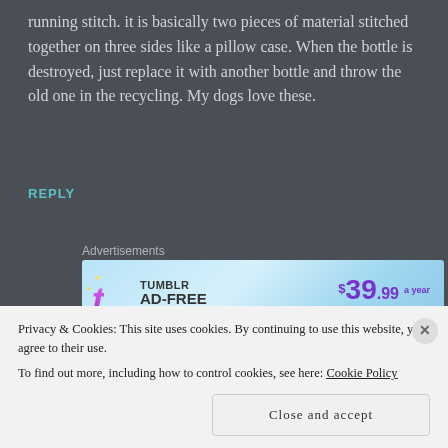running stitch. it is basically two pieces of material stitched together on three sides like a pillow case. When the bottle is destroyed, just replace it with another bottle and throw the old one in the recycling. My dogs love these.
REPLY
Advertisements
[Figure (screenshot): Tumblr Ad-Free Browsing advertisement banner. Shows Tumblr logo, text 'TUMBLR AD-FREE BROWSING', price $39.99 a year or $4.99 a month.]
REPORT THIS AD
MARILYN ARMSTRONG
Privacy & Cookies: This site uses cookies. By continuing to use this website, you agree to their use.
To find out more, including how to control cookies, see here: Cookie Policy
Close and accept